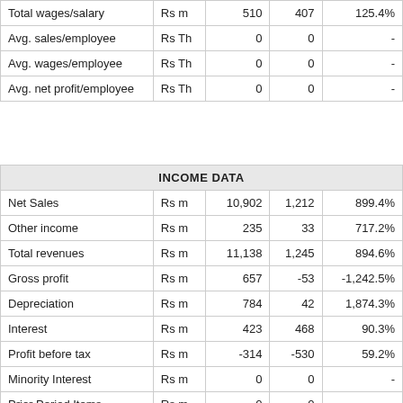|  |  |  |  |  |
| --- | --- | --- | --- | --- |
| Total wages/salary | Rs m | 510 | 407 | 125.4% |
| Avg. sales/employee | Rs Th | 0 | 0 | - |
| Avg. wages/employee | Rs Th | 0 | 0 | - |
| Avg. net profit/employee | Rs Th | 0 | 0 | - |
| INCOME DATA |  |  |  |  |
| --- | --- | --- | --- | --- |
| Net Sales | Rs m | 10,902 | 1,212 | 899.4% |
| Other income | Rs m | 235 | 33 | 717.2% |
| Total revenues | Rs m | 11,138 | 1,245 | 894.6% |
| Gross profit | Rs m | 657 | -53 | -1,242.5% |
| Depreciation | Rs m | 784 | 42 | 1,874.3% |
| Interest | Rs m | 423 | 468 | 90.3% |
| Profit before tax | Rs m | -314 | -530 | 59.2% |
| Minority Interest | Rs m | 0 | 0 | - |
| Prior Period Items | Rs m | 0 | 0 | - |
| Extraordinary Inc (Exp) | Rs m | 0 | 0 | - |
| Tax | Rs m | -127 | 0 | - |